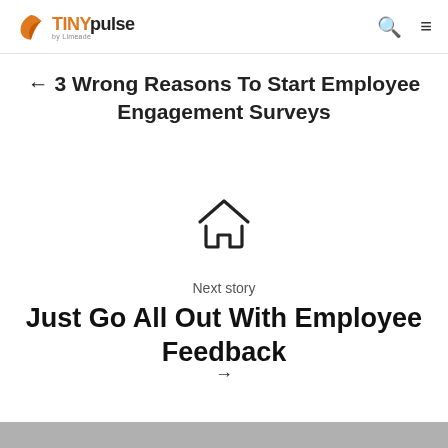TINYpulse by Limeade — navigation header with search and menu icons
← 3 Wrong Reasons To Start Employee Engagement Surveys
[Figure (illustration): Home icon — outline house symbol centered on page]
Next story
Just Go All Out With Employee Feedback
→